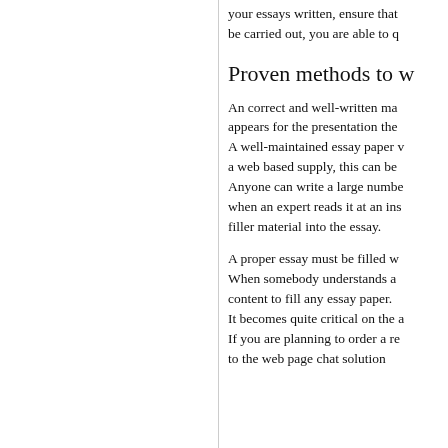your essays written, ensure that be carried out, you are able to q
Proven methods to w
An correct and well-written ma appears for the presentation the A well-maintained essay paper a web based supply, this can be Anyone can write a large numb when an expert reads it at an in filler material into the essay.
A proper essay must be filled w When somebody understands a content to fill any essay paper. It becomes quite critical on the a If you are planning to order a re to the web page chat solution